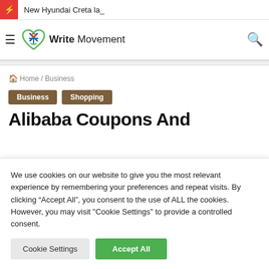New Hyundai Creta la_
[Figure (logo): Write Movement logo — green heart with blue X figure and green text 'Write Movement']
Home / Business
Business
Shopping
Alibaba Coupons And
We use cookies on our website to give you the most relevant experience by remembering your preferences and repeat visits. By clicking "Accept All", you consent to the use of ALL the cookies. However, you may visit "Cookie Settings" to provide a controlled consent.